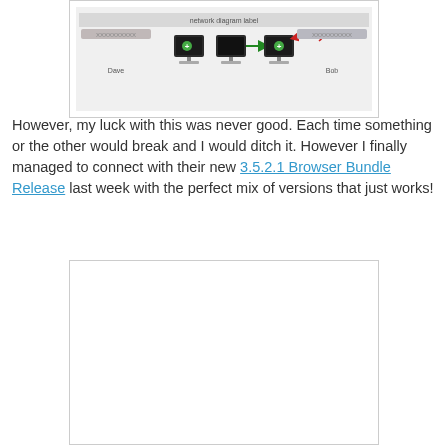[Figure (network-graph): Network diagram showing computer nodes labeled Dave and Bob with green plus icons and arrows between them, including a dashed red arrow and solid green arrow indicating connection directions.]
However, my luck with this was never good. Each time something or the other would break and I would ditch it. However I finally managed to connect with their new 3.5.2.1 Browser Bundle Release last week with the perfect mix of versions that just works!
[Figure (screenshot): A blank or mostly white screenshot area within a light gray bordered box.]